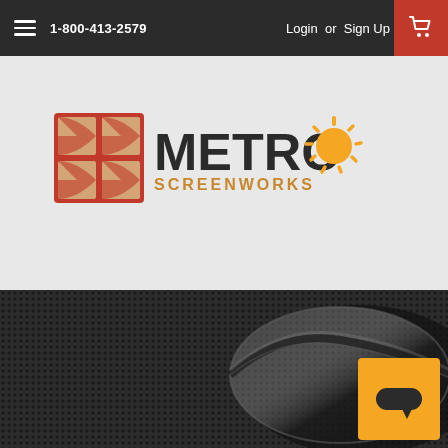1-800-413-2579  Login or Sign Up
[Figure (logo): Metro Screenworks logo with red grid square and orange sun icon]
[Figure (photo): Close-up photo of a rolled dark grey/charcoal screen mesh material]